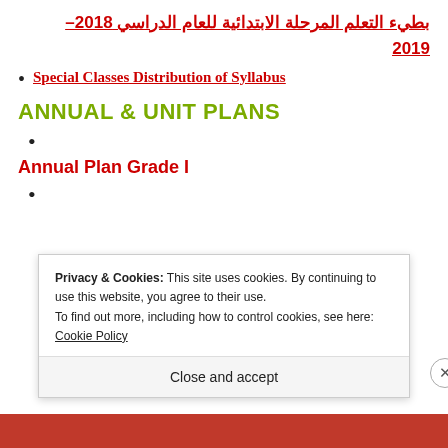بطيء التعلم المرحلة الابتدائية للعام الدراسي 2018-2019
Special Classes Distribution of Syllabus
ANNUAL & UNIT PLANS
Annual Plan Grade I
Privacy & Cookies: This site uses cookies. By continuing to use this website, you agree to their use. To find out more, including how to control cookies, see here: Cookie Policy
Close and accept